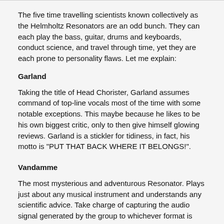The five time travelling scientists known collectively as the Helmholtz Resonators are an odd bunch. They can each play the bass, guitar, drums and keyboards, conduct science, and travel through time, yet they are each prone to personality flaws. Let me explain:
Garland
Taking the title of Head Chorister, Garland assumes command of top-line vocals most of the time with some notable exceptions. This maybe because he likes to be his own biggest critic, only to then give himself glowing reviews. Garland is a stickler for tidiness, in fact, his motto is "PUT THAT BACK WHERE IT BELONGS!".
Vandamme
The most mysterious and adventurous Resonator. Plays just about any musical instrument and understands any scientific advice. Take charge of capturing the audio signal generated by the group to whichever format is prevalent to the era in which they find themselves.
Carlton
No one has every been able to pin down exactly what Carlton does. Obsesses